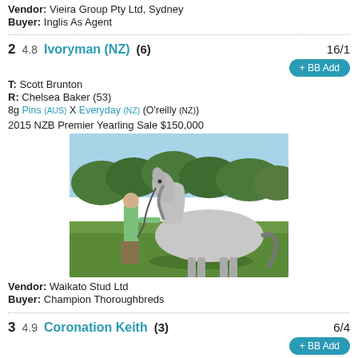Vendor: Vieira Group Pty Ltd, Sydney
Buyer: Inglis As Agent
2  4.8  Ivoryman (NZ) (6)  16/1
T: Scott Brunton
R: Chelsea Baker (53)
8g Pins (AUS) X Everyday (NZ) (O'reilly (NZ))
2015 NZB Premier Yearling Sale $150,000
[Figure (photo): A grey horse standing on a grass field being held by a person in a green shirt.]
Vendor: Waikato Stud Ltd
Buyer: Champion Thoroughbreds
3  4.9  Coronation Keith (3)  6/4
T: Sigrid Carr